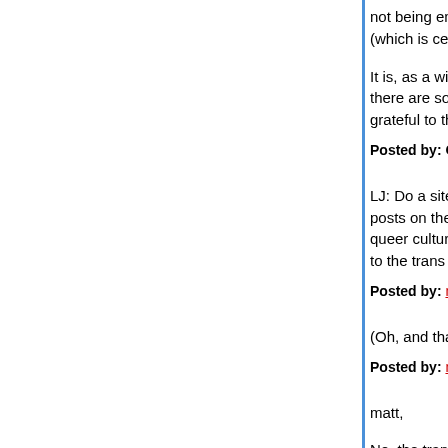not being embraced even to the degree gays and (which is certainly damning with faint praise).
It is, as a wise man once observed, an imperfect there are some people out there willing to make it grateful to them for it.
Posted by: G'Kar | October 02, 2007 at 09:57 AM
LJ: Do a site search on Pam's House Blend for H posts on the organization (which is very much ab queer culture to make it more palatable for popul to the trans community is par for the course.)
Posted by: matttbastard | October 02, 2007 at 09:58 AM
(Oh, and thank you for posting on this, Hil. <3)
Posted by: matttbastard | October 02, 2007 at 10:03 AM
matt,
No, the transgender community would definitely lo